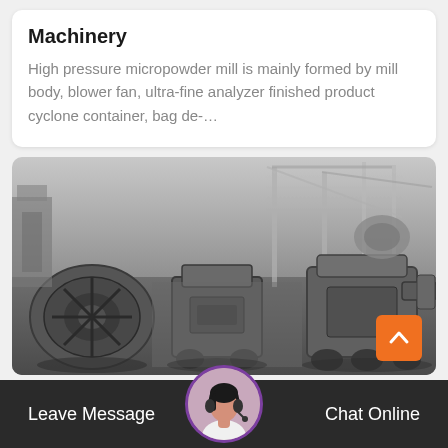Machinery
High pressure micropowder mill is mainly formed by mill body, blower fan, ultra-fine analyzer finished product cyclone container, bag de-…
[Figure (photo): Aerial/overhead black-and-white photograph of heavy industrial machinery and equipment in a large factory or industrial yard, showing crushers, conveyors, and processing machines.]
Leave Message   Chat Online